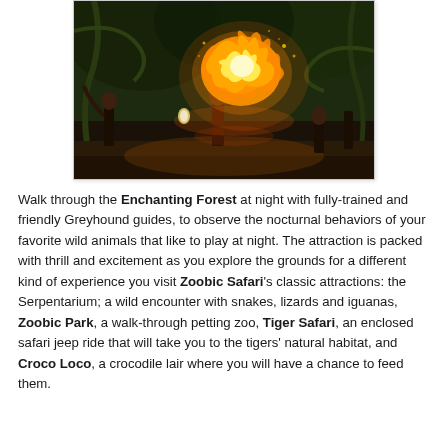[Figure (photo): A dramatic nighttime fire-breathing/fire performance scene with performers in tribal costumes in a jungle-like setting with lush green foliage in the background and a large fireball in the center.]
Walk through the Enchanting Forest at night with fully-trained and friendly Greyhound guides, to observe the nocturnal behaviors of your favorite wild animals that like to play at night. The attraction is packed with thrill and excitement as you explore the grounds for a different kind of experience you visit Zoobic Safari's classic attractions: the Serpentarium; a wild encounter with snakes, lizards and iguanas, Zoobic Park, a walk-through petting zoo, Tiger Safari, an enclosed safari jeep ride that will take you to the tigers' natural habitat, and Croco Loco, a crocodile lair where you will have a chance to feed them.